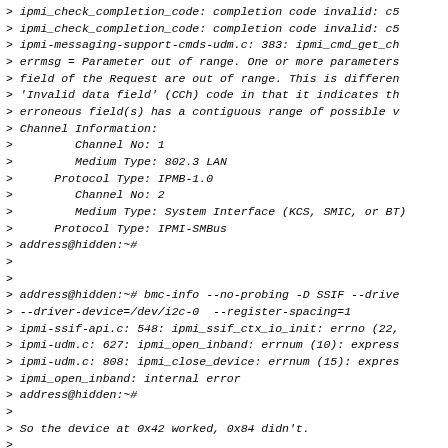> ipmi_check_completion_code: completion code invalid: c5
> ipmi_check_completion_code: completion code invalid: c5
> ipmi-messaging-support-cmds-udm.c: 383: ipmi_cmd_get_ch
> errmsg = Parameter out of range. One or more parameters
> field of the Request are out of range. This is differen
> 'Invalid data field' (CCh) code in that it indicates th
> erroneous field(s) has a contiguous range of possible v
> Channel Information:
>         Channel No: 1
>         Medium Type: 802.3 LAN
>      Protocol Type: IPMB-1.0
>         Channel No: 2
>         Medium Type: System Interface (KCS, SMIC, or BT)
>      Protocol Type: IPMI-SMBus
> address@hidden:~#
>
>
> address@hidden:~# bmc-info --no-probing -D SSIF --drive
> --driver-device=/dev/i2c-0  --register-spacing=1
> ipmi-ssif-api.c: 548: ipmi_ssif_ctx_io_init: errno (22,
> ipmi-udm.c: 627: ipmi_open_inband: errnum (10): express
> ipmi-udm.c: 808: ipmi_close_device: errnum (15): expres
> ipmi_open_inband: internal error
> address@hidden:~#
>
> So the device at 0x42 worked, 0x84 didn't.
>
>
>
> address@hidden:~# ipmi-sensors --no-probing -D SSIF --d